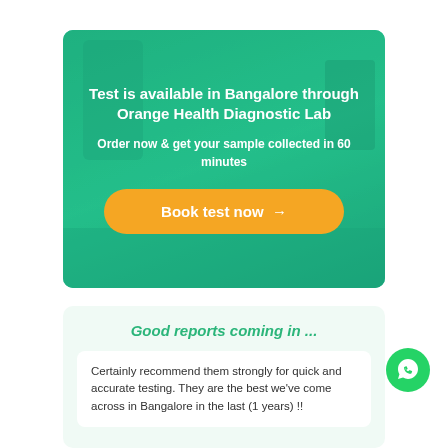[Figure (infographic): Banner with teal/green background (lab photo overlay) showing diagnostic lab booking information with orange CTA button]
Test is available in Bangalore through Orange Health Diagnostic Lab
Order now & get your sample collected in 60 minutes
Book test now →
Good reports coming in ...
Certainly recommend them strongly for quick and accurate testing. They are the best we've come across in Bangalore in the last (1 year) !!